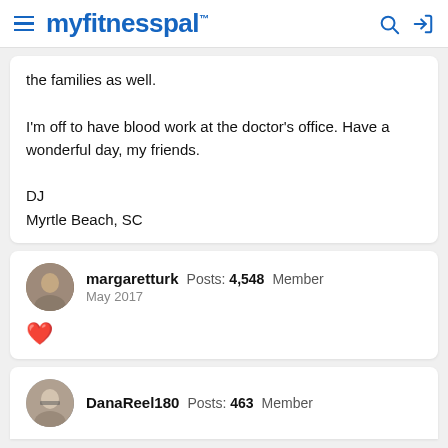myfitnesspal
the families as well.

I'm off to have blood work at the doctor's office. Have a wonderful day, my friends.

DJ
Myrtle Beach, SC
margaretturk  Posts: 4,548  Member
May 2017
❤️
DanaReel180  Posts: 463  Member